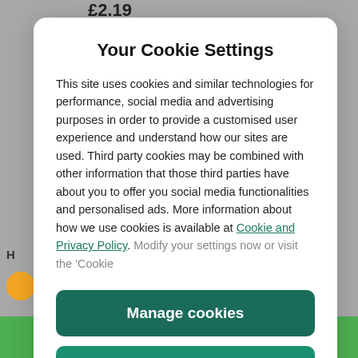£2.19
Your Cookie Settings
This site uses cookies and similar technologies for performance, social media and advertising purposes in order to provide a customised user experience and understand how our sites are used. Third party cookies may be combined with other information that those third parties have about you to offer you social media functionalities and personalised ads. More information about how we use cookies is available at Cookie and Privacy Policy. Modify your settings now or visit the 'Cookie
Manage cookies
Yes I accept